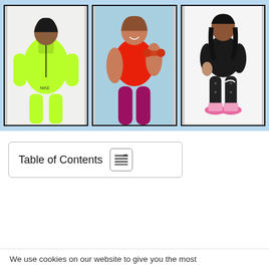[Figure (photo): Three framed photos of women in athletic wear on a light blue background. Left: woman in neon green Nike jacket and pants. Center: woman in red top and magenta leggings holding a dumbbell. Right: woman in black sports top and patterned leggings with Nike shoes.]
Table of Contents
We use cookies on our website to give you the most